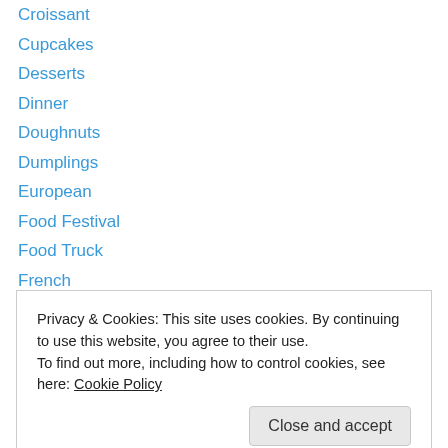Croissant
Cupcakes
Desserts
Dinner
Doughnuts
Dumplings
European
Food Festival
Food Truck
French
Frozen Yoghurt
Functions
Gluten Free
Privacy & Cookies: This site uses cookies. By continuing to use this website, you agree to their use. To find out more, including how to control cookies, see here: Cookie Policy
HSP